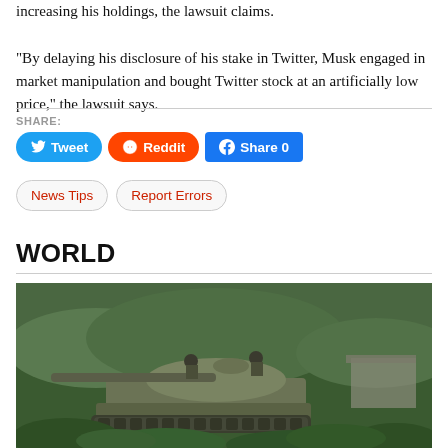“By delaying his disclosure of his stake in Twitter, Musk engaged in market manipulation and bought Twitter stock at an artificially low price,” the lawsuit says.
SHARE:
[Figure (other): Social share buttons: Tweet (Twitter/blue), Reddit (orange), Share 0 (Facebook/blue)]
[Figure (other): Secondary action buttons: News Tips, Report Errors]
WORLD
[Figure (photo): A military tank with soldiers on it driving through green vegetation terrain, with a hillside and structure visible in the background.]